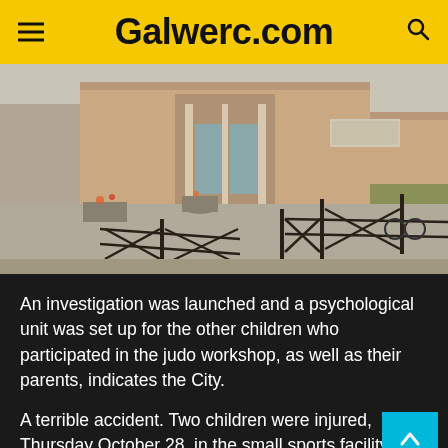Galwerc.com
[Figure (photo): Street-level view of a public building exterior with iron fences in the foreground, planters with flowers, and a main glass-door entrance in the background.]
An investigation was launched and a psychological unit was set up for the other children who participated in the judo workshop, as well as their parents, indicates the City.
A terrible accident. Two children were injured, Thursday October 28, in the small sports facility of...